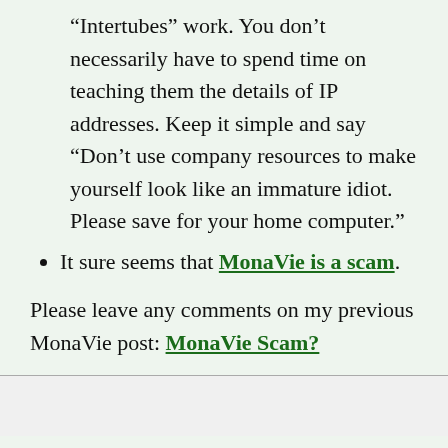“Intertubes” work. You don’t necessarily have to spend time on teaching them the details of IP addresses. Keep it simple and say “Don’t use company resources to make yourself look like an immature idiot. Please save for your home computer.”
It sure seems that MonaVie is a scam.
Please leave any comments on my previous MonaVie post: MonaVie Scam?